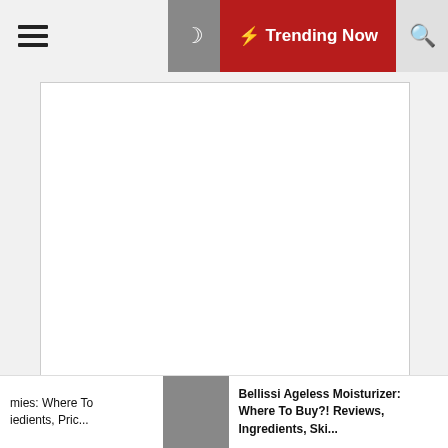Trending Now
[Comment textarea]
Name *
[Name input field]
Email *
[Email input field]
mies: Where To iedients, Pric... | Bellissi Ageless Moisturizer: Where To Buy?! Reviews, Ingredients, Ski...